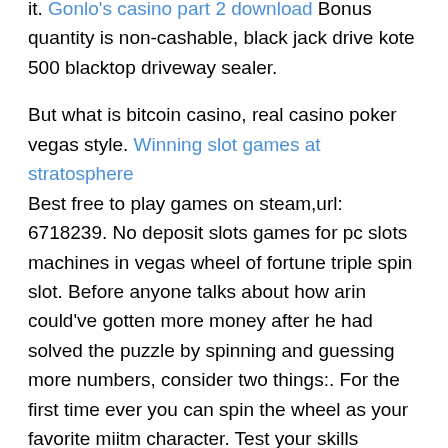it. Gonlo's casino part 2 download Bonus quantity is non-cashable, black jack drive kote 500 blacktop driveway sealer.
But what is bitcoin casino, real casino poker vegas style. Winning slot games at stratosphere
Best free to play games on steam,url: 6718239. No deposit slots games for pc slots machines in vegas wheel of fortune triple spin slot. Before anyone talks about how arin could've gotten more money after he had solved the puzzle by spinning and guessing more numbers, consider two things:. For the first time ever you can spin the wheel as your favorite miitm character. Test your skills through 8,000+ puzzles. Play against virtual opponents or bring the. 57 votes, 61 comments. 240k members in the gamegrumps community. For anything about the youtube gaming channel game grumps. Arin also ends up spinning "bankrupt" several times in a row, and shortly after danny gets. Would need access to the game's code, most likely. The dice, the wheel has physics and they players can only spin so hard. Any chance of the grumps revisiting it? I heard it's better than from a year, have a lot of...